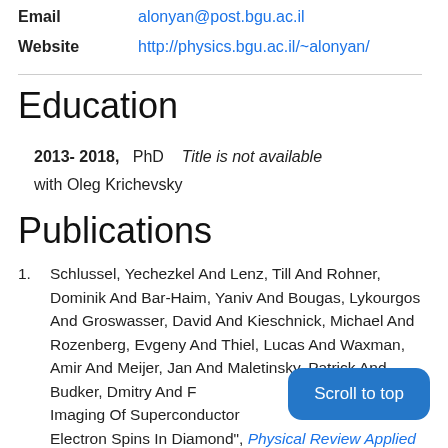Email: alonyan@post.bgu.ac.il
Website: http://physics.bgu.ac.il/~alonyan/
Education
2013- 2018, PhD Title is not available with Oleg Krichevsky
Publications
Schlussel, Yechezkel And Lenz, Till And Rohner, Dominik And Bar-Haim, Yaniv And Bougas, Lykourgos And Groswasser, David And Kieschnick, Michael And Rozenberg, Evgeny And Thiel, Lucas And Waxman, Amir And Meijer, Jan And Maletinsky, Patrick And Budker, Dmitry And Folman, Ron And... Field Imaging Of Superconductor ... Electron Spins In Diamond", Physical Review Applied